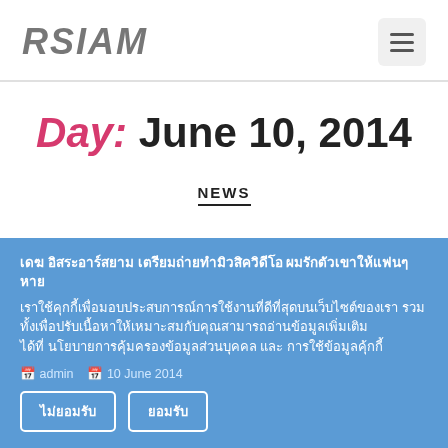RSIAM
Day: June 10, 2014
NEWS
เดฆ อิสระอาร์สยาม เตรียมถ่ายทำมิวสิควิดีโอ ผมรักตัวเขาให้แฟนๆ หาย
เราใช้คุกกี้เพื่อมอบประสบการณ์การใช้งานที่ดีที่สุดบนเว็บไซต์ของเรา รวมทั้งเพื่อปรับเนื้อหาให้เหมาะสมกับคุณสามารถอ่านข้อมูลเพิ่มเติมได้ที่ นโยบายการคุ้มครองข้อมูลส่วนบุคคล และ การใช้ข้อมูลคุ้กกี้
admin  10 June 2014
ไม่ยอมรับ  ยอมรับ